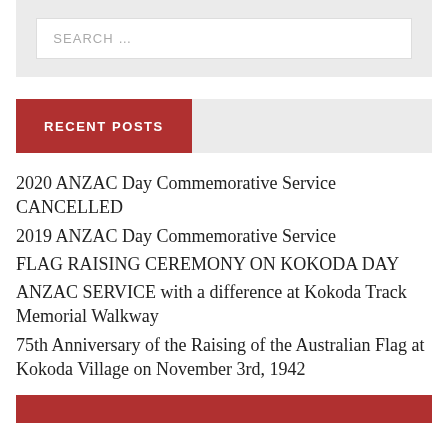SEARCH …
RECENT POSTS
2020 ANZAC Day Commemorative Service CANCELLED
2019 ANZAC Day Commemorative Service
FLAG RAISING CEREMONY ON KOKODA DAY
ANZAC SERVICE with a difference at Kokoda Track Memorial Walkway
75th Anniversary of the Raising of the Australian Flag at Kokoda Village on November 3rd, 1942